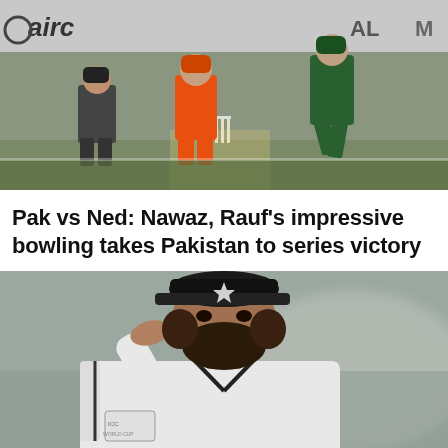[Figure (photo): Cricket match photo showing players in orange and green uniforms at the crease, with advertising boards in the background including 'airc', 'AL', and 'M' text]
Pak vs Ned: Nawaz, Rauf's impressive bowling takes Pakistan to series victory
[Figure (photo): Close-up photo of a bearded cricketer in white Test cricket uniform with black cap, hand raised to forehead in a dejected or thoughtful pose, with blurred background]